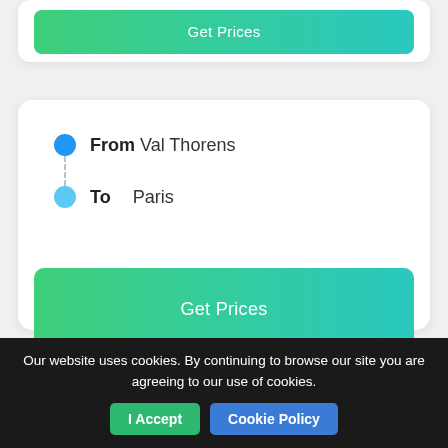Get Prices
From Val Thorens
To Paris
Get Prices
Our website uses cookies. By continuing to browse our site you are agreeing to our use of cookies. I Accept Cookie Policy